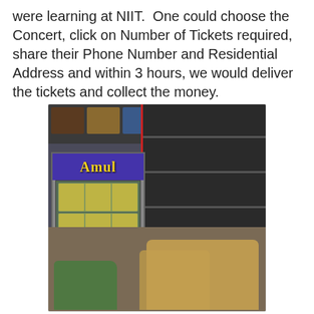were learning at NIIT.  One could choose the Concert, click on Number of Tickets required, share their Phone Number and Residential Address and within 3 hours, we would deliver the tickets and collect the money.
[Figure (photo): Interior of a small convenience/general store showing an Amul branded refrigerator on the left filled with beverages, shelves stocked with various products on the right, and snacks/biscuits in the foreground. Green bags visible at the bottom left.]